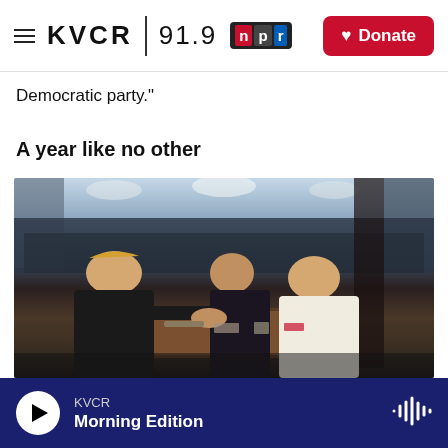KVCR 91.9 NPR | Donate
Democratic party."
A year like no other
[Figure (photo): Photo of politicians at a podium in a congressional chamber. A man in a dark suit on the left extends his hand toward a woman in a white suit on the right. A man in a dark suit stands behind the podium between them. A large crowd fills the background in formal congressional seating.]
KVCR Morning Edition